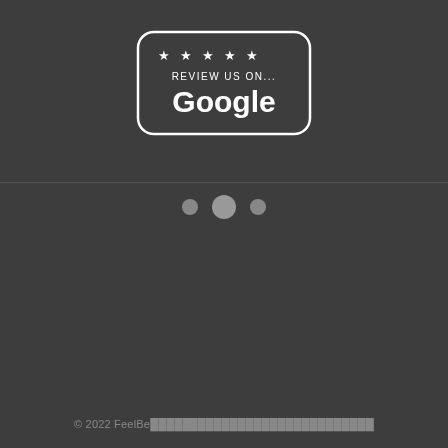[Figure (logo): Review us on Google badge with five stars and rounded rectangle border in white on dark background]
[Figure (other): Three grey circles as pagination dots, with the middle one larger than the two flanking ones]
© 2022 FeelBe▓▓▓▓▓▓▓▓▓▓▓▓▓▓▓▓▓▓▓▓▓▓▓▓▓▓▓▓